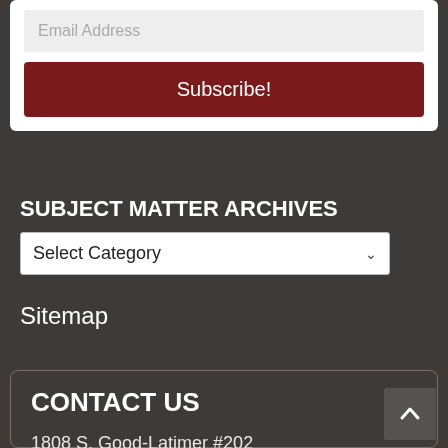[Figure (screenshot): Email address input field with light gray background]
[Figure (screenshot): Subscribe button in dark red/maroon color]
SUBJECT MATTER ARCHIVES
[Figure (screenshot): Select Category dropdown menu]
Sitemap
CONTACT US
1808 S. Good-Latimer #202
Dallas, TX 76226 469-608-1972